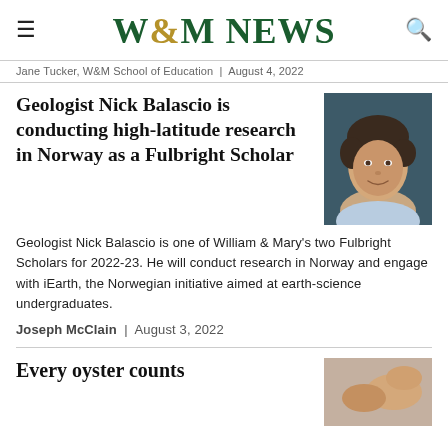W&M NEWS
Jane Tucker, W&M School of Education | August 4, 2022
Geologist Nick Balascio is conducting high-latitude research in Norway as a Fulbright Scholar
[Figure (photo): Portrait photo of geologist Nick Balascio, a man with curly dark hair wearing a light blue shirt, against a dark teal background.]
Geologist Nick Balascio is one of William & Mary's two Fulbright Scholars for 2022-23. He will conduct research in Norway and engage with iEarth, the Norwegian initiative aimed at earth-science undergraduates.
Joseph McClain | August 3, 2022
Every oyster counts
[Figure (photo): Partial photo showing hands, likely related to oyster counting or research.]